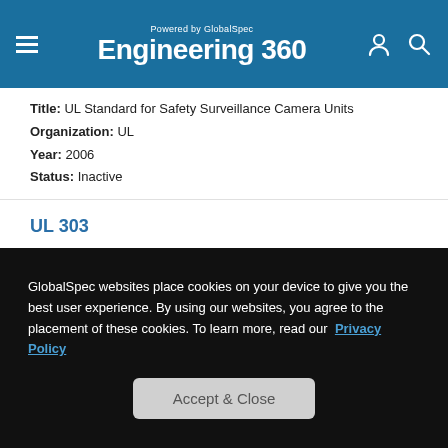Engineering 360 - Powered by GlobalSpec
Title: UL Standard for Safety Surveillance Camera Units | Organization: UL | Year: 2006 | Status: Inactive
UL 303
Title: UL Standard for Safety Refrigeration and Air-Conditioning Conden... | Organization: UL | Year: 1987 | Status: Inactive
GlobalSpec websites place cookies on your device to give you the best user experience. By using our websites, you agree to the placement of these cookies. To learn more, read our Privacy Policy
Accept & Close